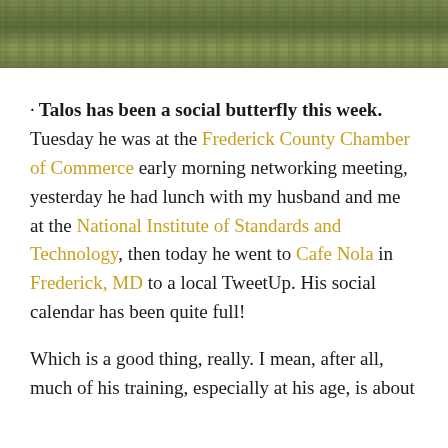[Figure (photo): Photograph of grass/foliage used as a decorative header banner at the top of a blog page.]
· Talos has been a social butterfly this week. Tuesday he was at the Frederick County Chamber of Commerce early morning networking meeting, yesterday he had lunch with my husband and me at the National Institute of Standards and Technology, then today he went to Cafe Nola in Frederick, MD to a local TweetUp. His social calendar has been quite full!
Which is a good thing, really. I mean, after all, much of his training, especially at his age, is about